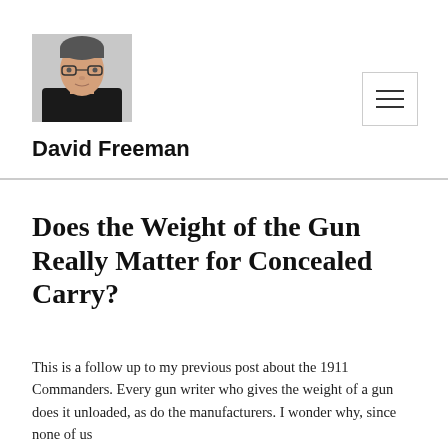[Figure (photo): Head and shoulders photo of a man wearing glasses and a dark shirt, against a light background]
David Freeman
Does the Weight of the Gun Really Matter for Concealed Carry?
This is a follow up to my previous post about the 1911 Commanders. Every gun writer who gives the weight of a gun does it unloaded, as do the manufacturers. I wonder why, since none of us